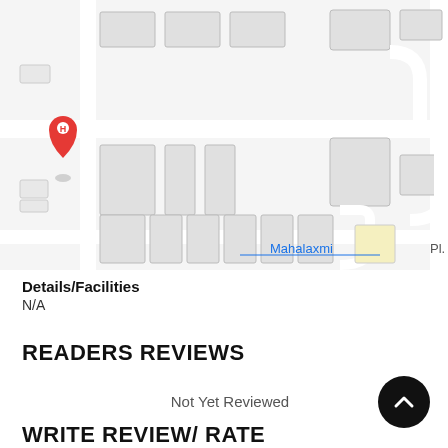[Figure (map): Google Maps-style street map showing building outlines and blocks around Mahalaxmi area. A red hospital/hotel location pin marked with 'H' is visible on the left side. The label 'Mahalaxmi' appears in blue text near the bottom of the map, and 'Pl.' text appears at the right edge.]
Details/Facilities
N/A
READERS REVIEWS
Not Yet Reviewed
WRITE REVIEW/ RATE